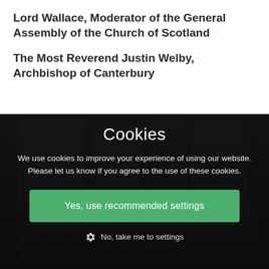Lord Wallace, Moderator of the General Assembly of the Church of Scotland
The Most Reverend Justin Welby, Archbishop of Canterbury
Cookies
We use cookies to improve your experience of using our website. Please let us know if you agree to the use of these cookies.
Yes, use recommended settings
No, take me to settings